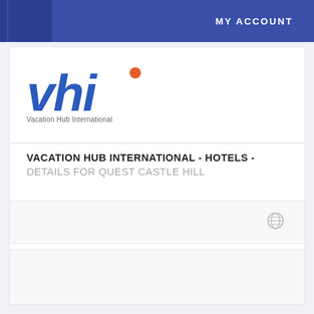MY ACCOUNT
[Figure (logo): VHI - Vacation Hub International logo with blue italic letters 'vhi' and orange dot accent, with tagline 'Vacation Hub International']
VACATION HUB INTERNATIONAL - HOTELS - DETAILS FOR QUEST CASTLE HILL
[Figure (screenshot): Search/filter bar area with globe icon on the right side]
[Figure (screenshot): Lower content area, appears empty/loading]